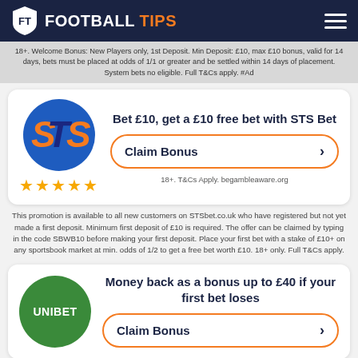FOOTBALL TIPS
18+. Welcome Bonus: New Players only, 1st Deposit. Min Deposit: £10, max £10 bonus, valid for 14 days, bets must be placed at odds of 1/1 or greater and be settled within 14 days of placement. System bets no eligible. Full T&Cs apply. #Ad
[Figure (logo): STS Bet circular logo with blue background and orange/blue STS lettering, with 5 gold stars below]
Bet £10, get a £10 free bet with STS Bet
Claim Bonus
18+. T&Cs Apply. begambleaware.org
This promotion is available to all new customers on STSbet.co.uk who have registered but not yet made a first deposit. Minimum first deposit of £10 is required. The offer can be claimed by typing in the code SBWB10 before making your first deposit. Place your first bet with a stake of £10+ on any sportsbook market at min. odds of 1/2 to get a free bet worth £10. 18+ only. Full T&Cs apply.
[Figure (logo): Unibet circular green logo with UNIBET text in white]
Money back as a bonus up to £40 if your first bet loses
Claim Bonus